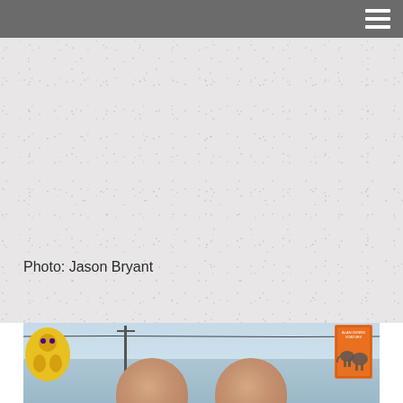[Figure (photo): Textured light gray background area, appears to be a blank/placeholder photo space with paper-like texture]
Photo: Jason Bryant
[Figure (photo): Outdoor photo showing two bald men from behind/above, with carnival or fair signage visible including a yellow character mascot flag on the left and an orange elephant sign on the right, utility poles and wires visible against a cloudy sky]